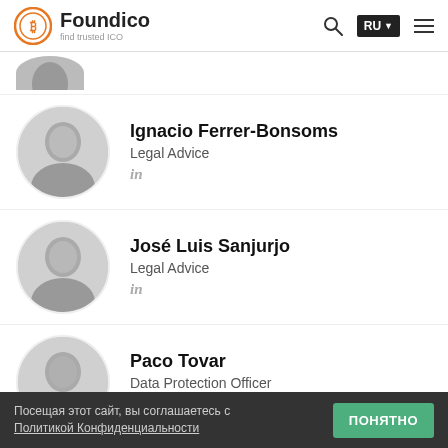Foundico – find trusted ICO
[Figure (photo): Partial avatar visible at top of page (cropped)]
Ignacio Ferrer-Bonsoms
Legal Advice
in
José Luis Sanjurjo
Legal Advice
in
Paco Tovar
Data Protection Officer
in
Javier Ortín
Marketplace
Посещая этот сайт, вы соглашаетесь с Политикой Конфиденциальности
ПОНЯТНО